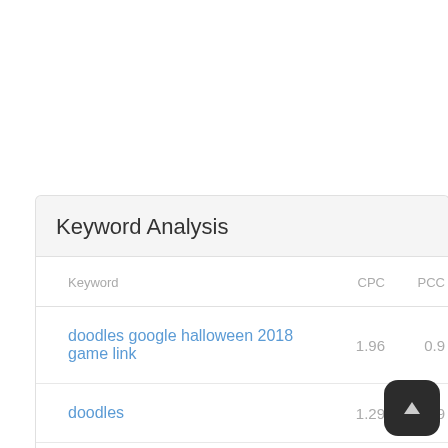Keyword Analysis
| Keyword | CPC | PCC |
| --- | --- | --- |
| doodles google halloween 2018 game link | 1.96 | 0.9 |
| doodles | 1.29 | 0.9 |
| google | 0.99 |  |